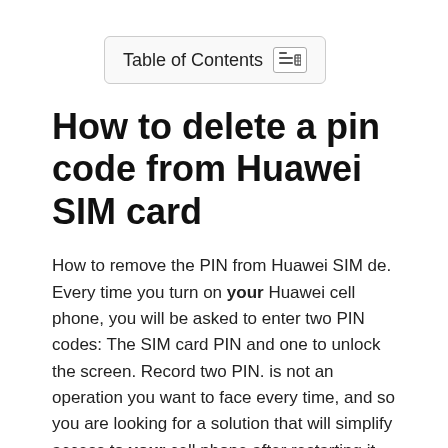Table of Contents
How to delete a pin code from Huawei SIM card
How to remove the PIN from Huawei SIM de. Every time you turn on your Huawei cell phone, you will be asked to enter two PIN codes: The SIM card PIN and one to unlock the screen. Record two PIN. is not an operation you want to face every time, and so you are looking for a solution that will simplify access to your cell phone after restarting it, right? In this case, I am happy to let you know that I can help you and offer suitable solutions for your situation.